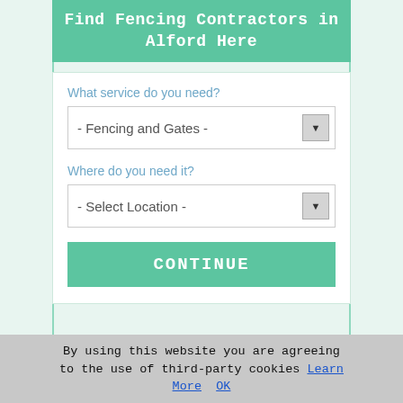Find Fencing Contractors in Alford Here
What service do you need?
- Fencing and Gates -
Where do you need it?
- Select Location -
CONTINUE
Alford Garden Fencing Removal
Alford Garden Fence Posts
Alford Cheap Garden Fencing
Alford Garden Fencing Treatments
Alford Metal Garden Fencing
Alford Garden Fencing Repairs
Alford Garden Fences and Gates
By using this website you are agreeing to the use of third-party cookies Learn More OK